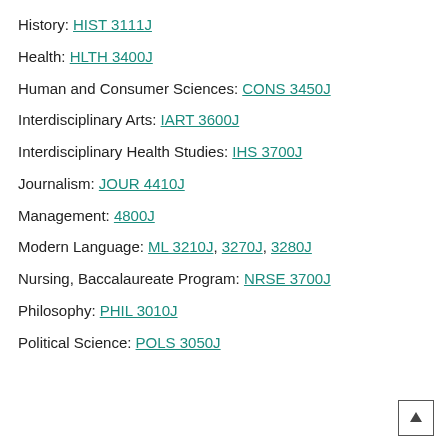History: HIST 3111J
Health: HLTH 3400J
Human and Consumer Sciences: CONS 3450J
Interdisciplinary Arts: IART 3600J
Interdisciplinary Health Studies: IHS 3700J
Journalism: JOUR 4410J
Management: 4800J
Modern Language: ML 3210J, 3270J, 3280J
Nursing, Baccalaureate Program: NRSE 3700J
Philosophy: PHIL 3010J
Political Science: POLS 3050J